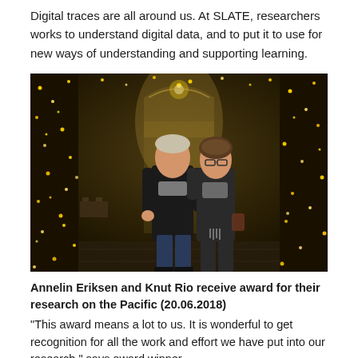Digital traces are all around us. At SLATE, researchers works to understand digital data, and to put it to use for new ways of understanding and supporting learning.
[Figure (photo): Two people standing together in a festively decorated indoor passage or gallery lined with hanging golden fairy lights. A man on the left with short grey hair wearing a dark jacket and grey scarf has his arm around a woman on the right who is wearing glasses and a grey scarf/coat. The background shows an elegant arched interior with string lights throughout.]
Annelin Eriksen and Knut Rio receive award for their research on the Pacific (20.06.2018)
"This award means a lot to us. It is wonderful to get recognition for all the work and effort we have put into our research," says award winner